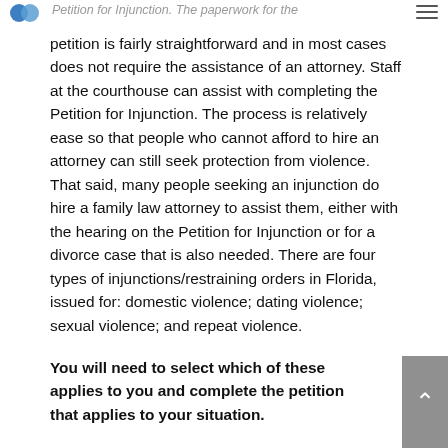Petition for Injunction. The paperwork for the
petition is fairly straightforward and in most cases does not require the assistance of an attorney. Staff at the courthouse can assist with completing the Petition for Injunction. The process is relatively ease so that people who cannot afford to hire an attorney can still seek protection from violence. That said, many people seeking an injunction do hire a family law attorney to assist them, either with the hearing on the Petition for Injunction or for a divorce case that is also needed. There are four types of injunctions/restraining orders in Florida, issued for: domestic violence; dating violence; sexual violence; and repeat violence.
You will need to select which of these applies to you and complete the petition that applies to your situation.